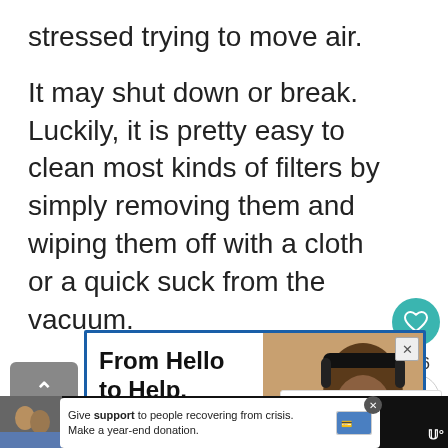stressed trying to move air.
It may shut down or break. Luckily, it is pretty easy to clean most kinds of filters by simply removing them and wiping them off with a cloth or a quick suck from the vacuum.
[Figure (screenshot): Advertisement banner: 'From Hello to Help,' with image of person wearing headphones with braided hair. Blue border. Close button top right.]
[Figure (screenshot): What's Next panel showing 'How to Prevent Mol...' with thumbnail image.]
[Figure (screenshot): Bottom black navigation bar with donation ad overlay reading 'Give support to people recovering from crisis. Make a year-end donation.' and bottom-left photo of couple.]